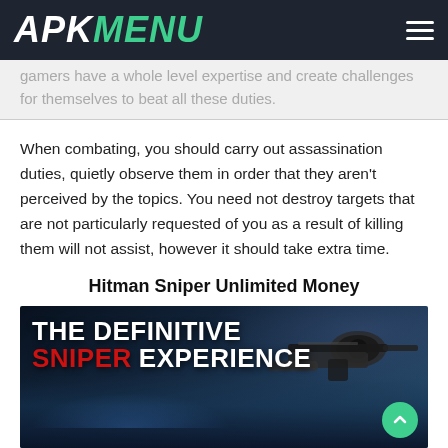APK MENU
gamers have a whole level expertise and create challenges for themselves to beat all these duties.
When combating, you should carry out assassination duties, quietly observe them in order that they aren't perceived by the topics. You need not destroy targets that are not particularly requested of you as a result of killing them will not assist, however it should take extra time.
Hitman Sniper Unlimited Money
[Figure (photo): Promotional screenshot of Hitman Sniper game showing 'THE DEFINITIVE SNIPER EXPERIENCE' text overlay on a nighttime coastal city scene with sniper rifle in foreground]